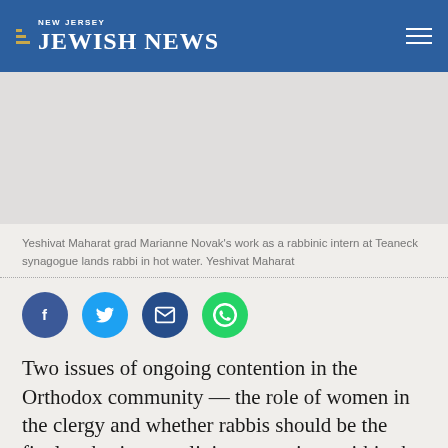NEW JERSEY JEWISH NEWS
[Figure (photo): Gray placeholder image area for a photo of Yeshivat Maharat grad Marianne Novak]
Yeshivat Maharat grad Marianne Novak's work as a rabbinic intern at Teaneck synagogue lands rabbi in hot water. Yeshivat Maharat
[Figure (infographic): Social sharing icons: Facebook, Twitter, Email, WhatsApp]
Two issues of ongoing contention in the Orthodox community — the role of women in the clergy and whether rabbis should be the final authority on religious questions within the synagogue — converged in recent days at a congregation in Teaneck.